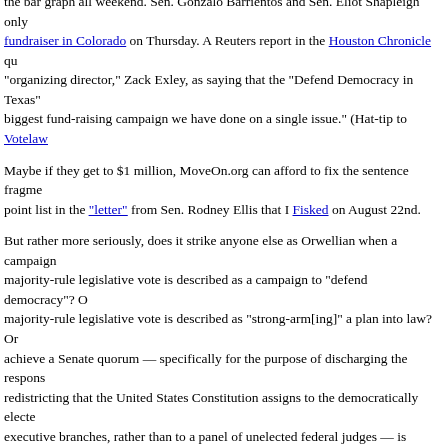the bar graph all weekend.  Sen. Gonzalo Barrientos and Sen. Eliot Shapleigh only [attended a] fundraiser in Colorado on Thursday.  A Reuters report in the Houston Chronicle qu[oted MoveOn's] "organizing director," Zack Exley, as saying that the "Defend Democracy in Texas" [campaign is the] biggest fund-raising campaign we have done on a single issue."  (Hat-tip to Votelaw[...])
Maybe if they get to $1 million, MoveOn.org can afford to fix the sentence fragme[nts] and the bullet point list in the "letter" from Sen. Rodney Ellis that I Fisked on August 22nd.
But rather more seriously, does it strike anyone else as Orwellian when a campaign [to block] a majority-rule legislative vote is described as a campaign to "defend democracy"?  O[r when] a majority-rule legislative vote is described as "strong-arm[ing]" a plan into law?  Or [when fleeing to] achieve a Senate quorum — specifically for the purpose of discharging the respons[ibility of] redistricting that the United States Constitution assigns to the democratically elect[ed legislative and] executive branches, rather than to a panel of unelected federal judges — is describe[d as "undermining] democratic institutions"?
As for the "group of men who will do anything to consolidate that power":   Does i[t even] occur to the folks at MoveOn that there were a few women among the millions of Texas voters who in the 2002 elections gave the Republicans their first majorities in both chambers of the Texas Legislature since Reconstruction and denied the Democrats every one of Texas' 29 state-wide offices?
And doesn't MoveOn.org owe an apology to Republican Texas Senators Jane Nelso[n] and Florence Shapiro for implying that the votes they would cast on behalf of their constituents — votes favoring redistricting — somehow don't count?